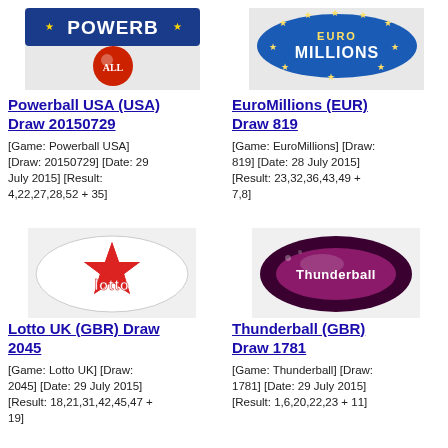[Figure (logo): Powerball USA lottery logo — blue banner with POWERBALL text]
Powerball USA (USA) Draw 20150729
[Game: Powerball USA] [Draw: 20150729] [Date: 29 July 2015] [Result: 4,22,27,28,52 + 35]
[Figure (logo): EuroMillions lottery logo — blue text MILLIONS with yellow stars]
EuroMillions (EUR) Draw 819
[Game: EuroMillions] [Draw: 819] [Date: 28 July 2015] [Result: 23,32,36,43,49 + 7,8]
[Figure (logo): Lotto UK lottery logo — white oval badge with red star and lotto text]
Lotto UK (GBR) Draw 2045
[Game: Lotto UK] [Draw: 2045] [Date: 29 July 2015] [Result: 18,21,31,42,45,47 + 19]
[Figure (logo): Thunderball lottery logo — dark oval badge with Thunderball text in pink/white]
Thunderball (GBR) Draw 1781
[Game: Thunderball] [Draw: 1781] [Date: 29 July 2015] [Result: 1,6,20,22,23 + 11]